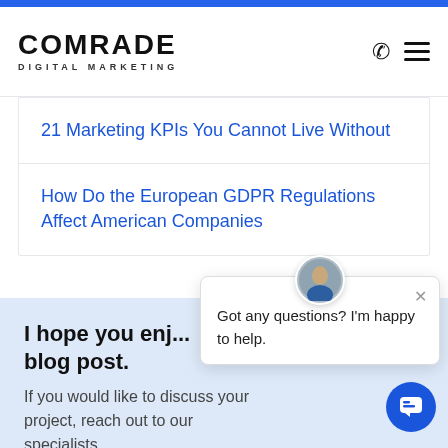[Figure (logo): Comrade Digital Marketing logo with phone and hamburger menu icons]
21 Marketing KPIs You Cannot Live Without
How Do the European GDPR Regulations Affect American Companies
I hope you enj... blog post.
If you would like to discuss your project, reach out to our specialists.
DISCUSS YOUR PROJECT
[Figure (screenshot): Chat popup with avatar saying: Got any questions? I'm happy to help.]